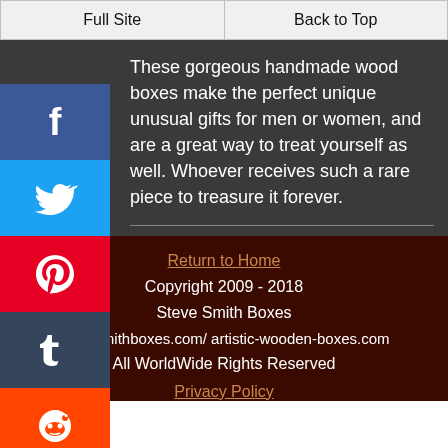Full Site | Back to Top
These gorgeous handmade wood boxes make the perfect unique unusual gifts for men or women, and are a great way to treat yourself as well. Whoever receives such a rare piece to treasure it forever.
[Figure (other): Social media share buttons sidebar: Facebook, Twitter, Pinterest, Tumblr, Reddit, WhatsApp]
Return to Home
Copyright 2009 - 2018
Steve Smith Boxes
stevesmithboxes.com/ artistic-wooden-boxes.com
All WorldWide Rights Reserved
Privacy Policy